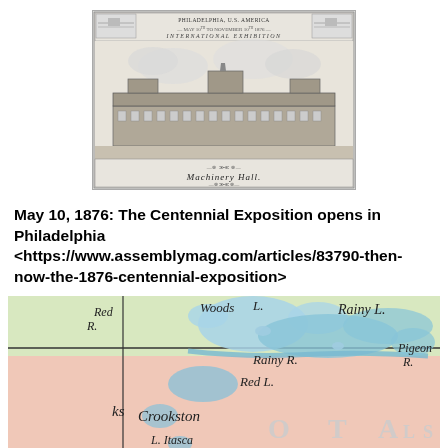[Figure (illustration): Historical engraving of Machinery Hall at the 1876 Philadelphia International Exposition / Centennial Exposition, showing a large ornate building with text at top reading 'PHILADELPHIA U.S. AMERICA' and 'MAY 10 TO NOVEMBER 10 1876', and 'INTERNATIONAL EXHIBITION' and 'MACHINERY HALL' labeled below.]
May 10, 1876: The Centennial Exposition opens in Philadelphia <https://www.assemblymag.com/articles/83790-then-now-the-1876-centennial-exposition>
[Figure (map): Partial historical color map showing the Minnesota/Canada border region featuring Rainy Lake (Rainy L.), Rainy River (Rainy R.), Red Lake (Red L.), Lake of the Woods (Woods L.), Pigeon River (Pigeon R.), Red River (Red R.), Crookston, Lake Itasca (L. Itasca), and partial text reading 'O T A' and 'L S' suggesting Minnesota.]